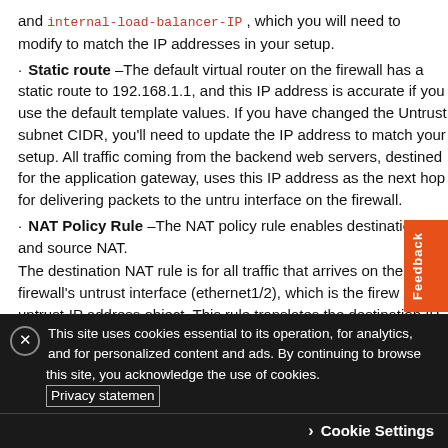and internal-load-balancer-IP , which you will need to modify to match the IP addresses in your setup.
· Static route –The default virtual router on the firewall has a static route to 192.168.1.1, and this IP address is accurate if you use the default template values. If you have changed the Untrust subnet CIDR, you'll need to update the IP address to match your setup. All traffic coming from the backend web servers, destined for the application gateway, uses this IP address as the next hop for delivering packets to the untrust interface on the firewall.
· NAT Policy Rule –The NAT policy rule enables destination NAT and source NAT.
The destination NAT rule is for all traffic that arrives on the firewall's untrust interface (ethernet1/2), which is the firewall untrust-IP address object. This rule translates the destination IP address on the packet to that of the internal load balancer
This site uses cookies essential to its operation, for analytics, and for personalized content and ads. By continuing to browse this site, you acknowledge the use of cookies. Privacy statement